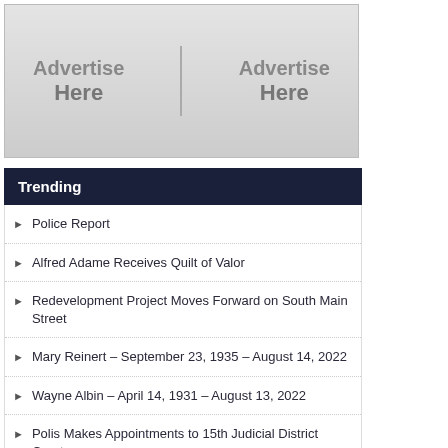[Figure (other): Advertisement placeholder with two 'Advertise Here' units side by side on a grey gradient background]
Trending
Police Report
Alfred Adame Receives Quilt of Valor
Redevelopment Project Moves Forward on South Main Street
Mary Reinert – September 23, 1935 – August 14, 2022
Wayne Albin – April 14, 1931 – August 13, 2022
Polis Makes Appointments to 15th Judicial District Courts
Dwight F. McKim – December 8, 1944 – August 15, 2022
Four Teenagers Killed in 2 Car Crash in Prowers County
Rick D. Gardner – October 25, 1965 – July 29, 2022